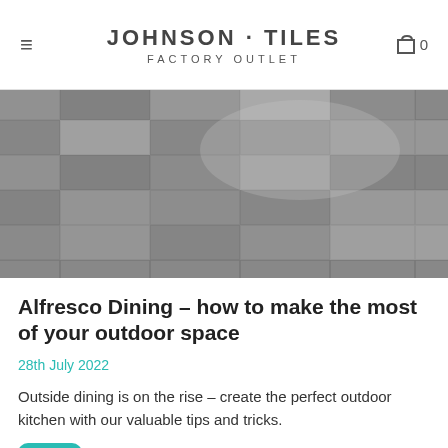JOHNSON · TILES FACTORY OUTLET
[Figure (photo): Close-up aerial view of grey slate/concrete outdoor tiles laid in a grid pattern, showing a patio or outdoor flooring surface with varying shades of grey.]
Alfresco Dining – how to make the most of your outdoor space
28th July 2022
Outside dining is on the rise – create the perfect outdoor kitchen with our valuable tips and tricks.